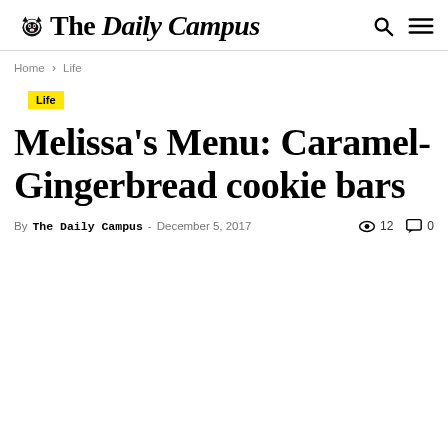The Daily Campus
Home › Life
Life
Melissa's Menu: Caramel-Gingerbread cookie bars
By The Daily Campus - December 5, 2017  👁 12  💬 0